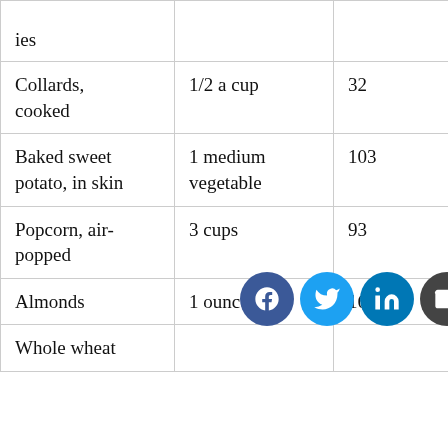| Food | Serving size | Calories | Fiber (g) |
| --- | --- | --- | --- |
| …ies |  |  |  |
| Collards, cooked | 1/2 a cup | 32 | 3.8 |
| Baked sweet potato, in skin | 1 medium vegetable | 103 | 3.8 |
| Popcorn, air-popped | 3 cups | 93 | 3.5 |
| Almonds | 1 ounce (oz) | 164 | 3.5 |
| Whole wheat… |  |  |  |
[Figure (infographic): Social sharing icons: Facebook, Twitter, LinkedIn, Email, Pinterest]